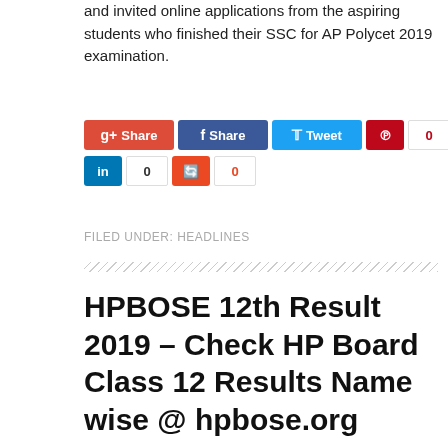and invited online applications from the aspiring students who finished their SSC for AP Polycet 2019 examination.
[Figure (infographic): Social sharing buttons: Google+ Share, Facebook Share, Twitter Tweet, Pinterest with count 0, LinkedIn with count 0, StumbleUpon with count 0]
FILED UNDER: HEADLINES
HPBOSE 12th Result 2019 – Check HP Board Class 12 Results Name wise @ hpbose.org